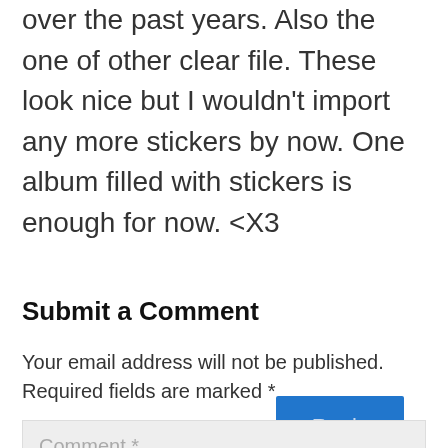over the past years. Also the one of other clear file. These look nice but I wouldn't import any more stickers by now. One album filled with stickers is enough for now. <X3
Reply
Submit a Comment
Your email address will not be published. Required fields are marked *
Comment *